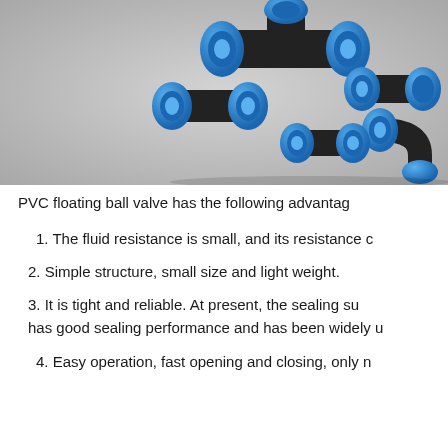[Figure (photo): Blue and black PVC pipe compression fittings arranged on a grey background, showing multiple T-joints, couplings, and elbows.]
PVC floating ball valve has the following advantag
1. The fluid resistance is small, and its resistance c
2. Simple structure, small size and light weight.
3. It is tight and reliable. At present, the sealing su has good sealing performance and has been widely u
4. Easy operation, fast opening and closing, only n